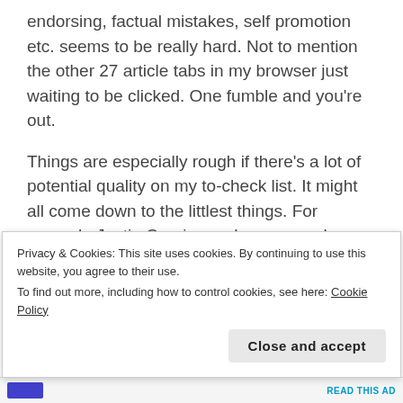endorsing, factual mistakes, self promotion etc. seems to be really hard. Not to mention the other 27 article tabs in my browser just waiting to be clicked. One fumble and you're out.
Things are especially rough if there's a lot of potential quality on my to-check list. It might all come down to the littlest things. For example Justin Cronin used one super lame sentence in the book The Passage – and swoosh said the guillotine. It takes one cumbersome mission in Fallout: New Vegas. One flash ad that loads too long. Even good
Privacy & Cookies: This site uses cookies. By continuing to use this website, you agree to their use.
To find out more, including how to control cookies, see here: Cookie Policy
Close and accept